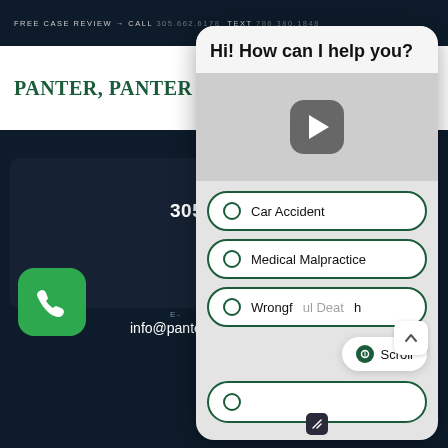FREE CASE REVIEW → CALL 305.662.6178 TEXT 786.380.1848
PANTER, PANTER & SAMPEDRO
[Figure (screenshot): Chat widget overlay with greeting 'Hi! How can I help you?' and case type options including Car Accident, Medical Malpractice, Wrongful Death]
CALL US
305-662-6178
E-
info@panterlaw.com
Car Accident
Medical Malpractice
Wrongful Death